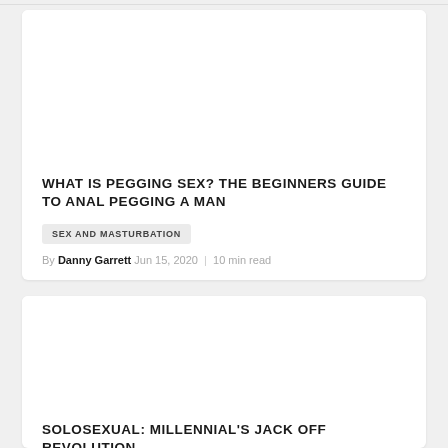WHAT IS PEGGING SEX? THE BEGINNERS GUIDE TO ANAL PEGGING A MAN
SEX AND MASTURBATION
By Danny Garrett Jun 15, 2020 | 10 min read
SOLOSEXUAL: MILLENNIAL'S JACK OFF REVOLUTION